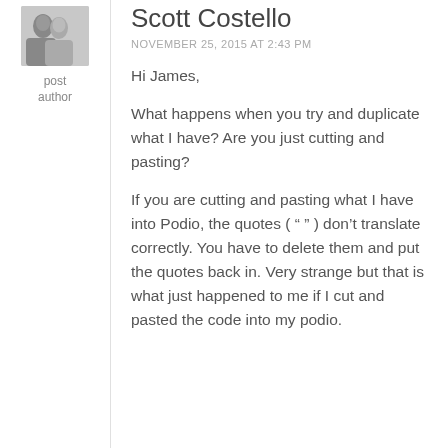[Figure (photo): Small avatar photo of two people in black and white]
post author
Scott Costello
NOVEMBER 25, 2015 AT 2:43 PM
Hi James,
What happens when you try and duplicate what I have? Are you just cutting and pasting?
If you are cutting and pasting what I have into Podio, the quotes ( “ ” ) don’t translate correctly. You have to delete them and put the quotes back in. Very strange but that is what just happened to me if I cut and pasted the code into my podio.